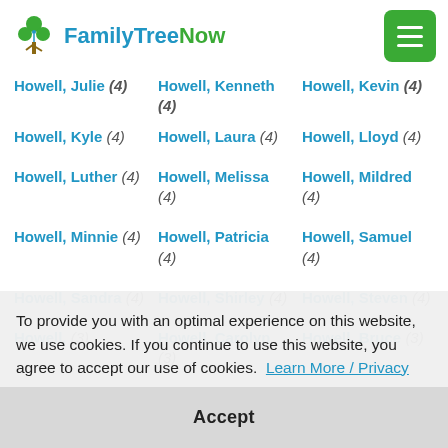FamilyTreeNow
Howell, Julie (4)
Howell, Kenneth (4)
Howell, Kevin (4)
Howell, Kyle (4)
Howell, Laura (4)
Howell, Lloyd (4)
Howell, Luther (4)
Howell, Melissa (4)
Howell, Mildred (4)
Howell, Minnie (4)
Howell, Patricia (4)
Howell, Samuel (4)
Howell, Sandra (4)
Howell, Shirley (4)
Howell, Steven (4)
Howell, (3)
Howell, Carolyn (3)
Howell, Bruce (3)
To provide you with an optimal experience on this website, we use cookies. If you continue to use this website, you agree to accept our use of cookies. Learn More / Privacy
Accept